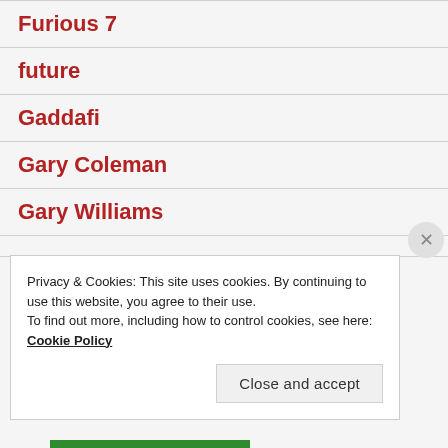Furious 7
future
Gaddafi
Gary Coleman
Gary Williams
Privacy & Cookies: This site uses cookies. By continuing to use this website, you agree to their use.
To find out more, including how to control cookies, see here: Cookie Policy
Close and accept